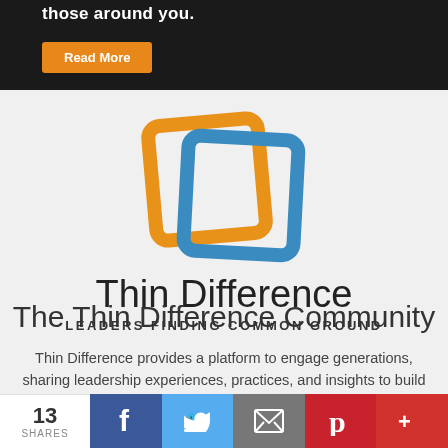[Figure (photo): Dark background image with white text 'those around you.' and an orange 'Read More' button]
[Figure (logo): Thin Difference logo — two overlapping rounded square outlines, one orange and one blue, with text 'Thin Difference' and tagline 'LEADERS FINDING COMMON GROUND']
The Thin Difference Community
Thin Difference provides a platform to engage generations, sharing leadership experiences, practices, and insights to build common
13 SHARES | Facebook | Twitter | Email | Pinterest | More